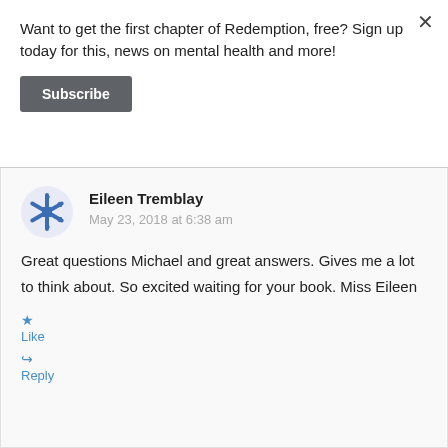Want to get the first chapter of Redemption, free? Sign up today for this, news on mental health and more!
Subscribe
Eileen Tremblay
May 23, 2018 at 6:38 am
Great questions Michael and great answers. Gives me a lot to think about. So excited waiting for your book. Miss Eileen
Like
Reply